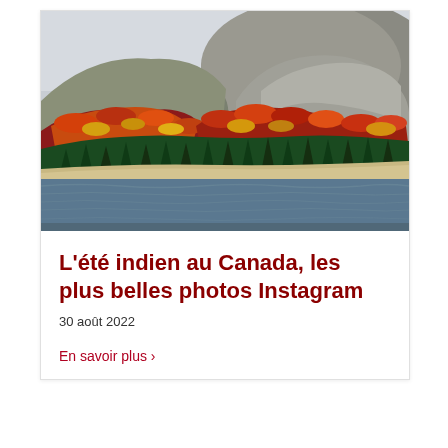[Figure (photo): Autumn landscape photo showing rocky hills covered with colorful fall foliage — red, orange, yellow and green trees — with a sandy beach and calm blue-grey water in the foreground.]
L'été indien au Canada, les plus belles photos Instagram
30 août 2022
En savoir plus ›